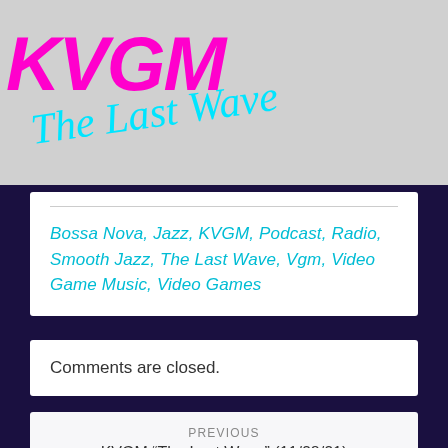KVGM The Last Wave
Bossa Nova, Jazz, KVGM, Podcast, Radio, Smooth Jazz, The Last Wave, Vgm, Video Game Music, Video Games
Comments are closed.
PREVIOUS
KVGM "The Last Wave" (11/28/21)